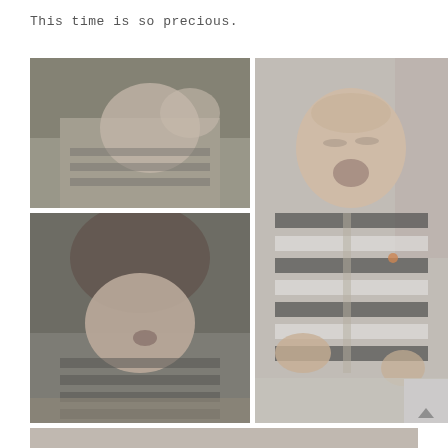This time is so precious.
[Figure (photo): Baby in black and white striped outfit being held, close-up face view, faint/foggy look]
[Figure (photo): Baby in black and white striped outfit, mouth open yawning, being held - lower angle]
[Figure (photo): Larger portrait of baby in black and white striped onesie, mouth open, sitting on soft blanket, full body visible]
[Figure (photo): Partial bottom strip showing another baby photo, cut off at bottom of page]